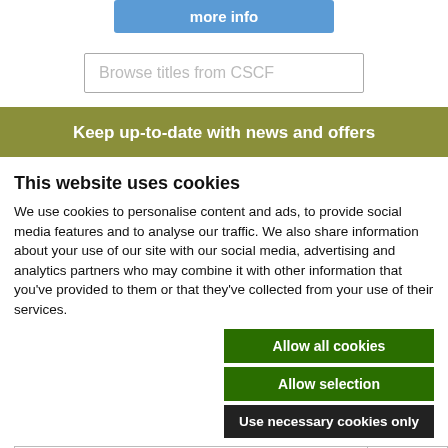[Figure (other): Blue 'more info' button at top]
[Figure (other): Search input box: 'Browse titles from CSCF']
Keep up-to-date with news and offers
This website uses cookies
We use cookies to personalise content and ads, to provide social media features and to analyse our traffic. We also share information about your use of our site with our social media, advertising and analytics partners who may combine it with other information that you've provided to them or that they've collected from your use of their services.
[Figure (other): Three buttons: Allow all cookies (green), Allow selection (green), Use necessary cookies only (black)]
| Necessary | Preferences | Statistics | Show details |
| --- | --- | --- | --- |
| ✓ Necessary | ✓ Preferences | ✓ Statistics | Show details ∨ |
| ✓ Marketing |  |  |  |